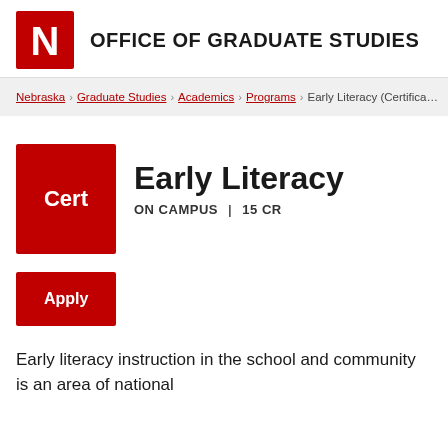OFFICE OF GRADUATE STUDIES
Nebraska › Graduate Studies › Academics › Programs › Early Literacy (Certifica…
Early Literacy
ON CAMPUS  |  15 CR
Apply
Early literacy instruction in the school and community is an area of national